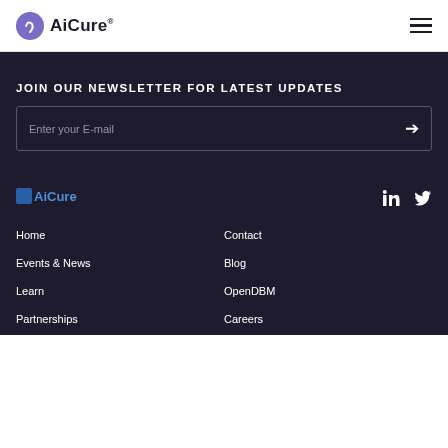AiCure
JOIN OUR NEWSLETTER FOR LATEST UPDATES
Enter your E-mail
[Figure (logo): AiCure logo in footer]
LinkedIn Twitter social icons
Home
Contact
Events & News
Blog
Learn
OpenDBM
Partnerships
Careers